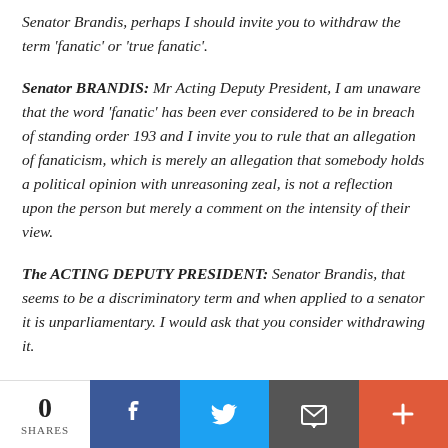Senator Brandis, perhaps I should invite you to withdraw the term 'fanatic' or 'true fanatic'.
Senator BRANDIS: Mr Acting Deputy President, I am unaware that the word 'fanatic' has been ever considered to be in breach of standing order 193 and I invite you to rule that an allegation of fanaticism, which is merely an allegation that somebody holds a political opinion with unreasoning zeal, is not a reflection upon the person but merely a comment on the intensity of their view.
The ACTING DEPUTY PRESIDENT: Senator Brandis, that seems to be a discriminatory term and when applied to a senator it is unparliamentary. I would ask that you consider withdrawing it.
0 SHARES | Facebook | Twitter | Email | More